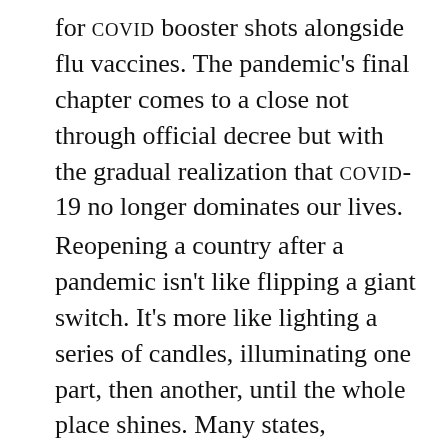for COVID booster shots alongside flu vaccines. The pandemic's final chapter comes to a close not through official decree but with the gradual realization that COVID-19 no longer dominates our lives.
Reopening a country after a pandemic isn't like flipping a giant switch. It's more like lighting a series of candles, illuminating one part, then another, until the whole place shines. Many states, counties, cities, and businesses will further loosen their restrictions; others will wait. Communities and individuals will approach the end of the crisis